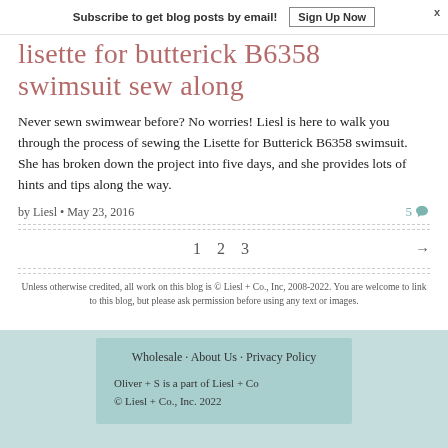Subscribe to get blog posts by email! Sign Up Now x
lisette for butterick B6358 swimsuit sew along
Never sewn swimwear before? No worries! Liesl is here to walk you through the process of sewing the Lisette for Butterick B6358 swimsuit. She has broken down the project into five days, and she provides lots of hints and tips along the way.
by Liesl · May 23, 2016  5
1  2  3  →
Unless otherwise credited, all work on this blog is © Liesl + Co., Inc, 2008-2022. You are welcome to link to this blog, but please ask permission before using any text or images.
Wholesale · About Us · Privacy Policy
Oliver + S is a part of Liesl + Co
© Liesl + Co., Inc. 2022